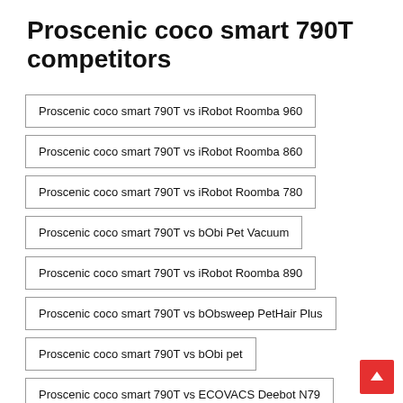Proscenic coco smart 790T competitors
Proscenic coco smart 790T vs iRobot Roomba 960
Proscenic coco smart 790T vs iRobot Roomba 860
Proscenic coco smart 790T vs iRobot Roomba 780
Proscenic coco smart 790T vs bObi Pet Vacuum
Proscenic coco smart 790T vs iRobot Roomba 890
Proscenic coco smart 790T vs bObsweep PetHair Plus
Proscenic coco smart 790T vs bObi pet
Proscenic coco smart 790T vs ECOVACS Deebot N79